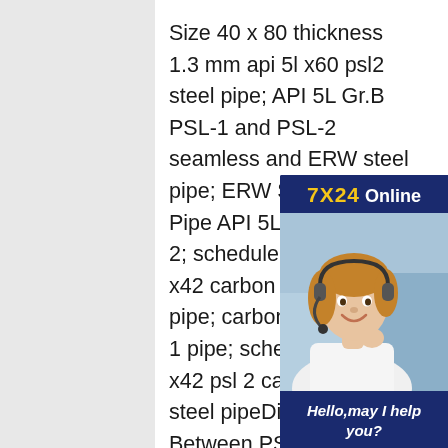Size 40 x 80 thickness 1.3 mm api 5l x60 psl2 steel pipe; API 5L Gr.B PSL-1 and PSL-2 seamless and ERW steel pipe; ERW Steel Line Pipe API 5L Grade PSL 2; schedule 80 api-5l-gr. x42 carbon casing steel pipe; carbon 5 L X42 psl 1 pipe; schedule 80 api x42 psl 2 carbon casing steel pipeDifference Between PSL1 and PipeThe American Petroleum Institute (API) designates different specifications API line pipe. There are two specs and PSL-2 comes under API 5L. These specs cover seamless and welded API steel line pipe from grades X42 through X80. API 5L Line Pipes is suitable for transporting fluids such as gas, water, and oil, and is usually found in the api x42 psl 2 pipeline pipe.
[Figure (other): Customer service representative with headset smiling, with '7X24 Online' header in navy blue and yellow, and 'Hello, may I help you?' text with 'Get Latest Price' button in yellow]